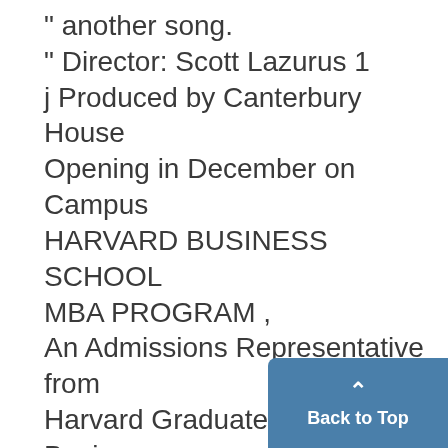" another song.
" Director: Scott Lazurus 1
j Produced by Canterbury House
Opening in December on Campus
HARVARD BUSINESS SCHOOL
MBA PROGRAM ,
An Admissions Representative from
Harvard Graduate School of Business
Administration
will be on campus
Tuesday, November 8, 1977
to meet with students interested in
the two-year MBA Program
Contact the